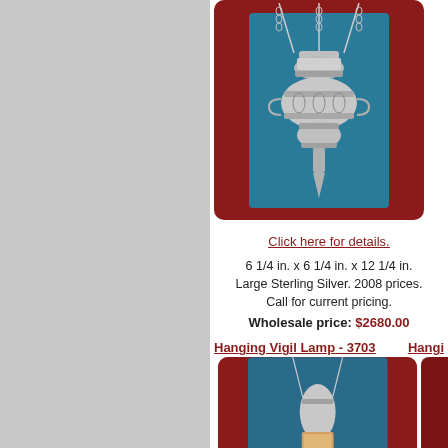[Figure (photo): Hanging vigil lamp sterling silver ornate, hanging from chains, against dark red background]
Click here for details.
6 1/4 in. x 6 1/4 in. x 12 1/4 in. Large Sterling Silver. 2008 prices. Call for current pricing.
Wholesale price: $2680.00
Hanging Vigil Lamp - 3703
Hangi...
[Figure (photo): Hanging vigil lamp smaller style with chains, against dark red background]
5 1/... Regu... prices...
Who...